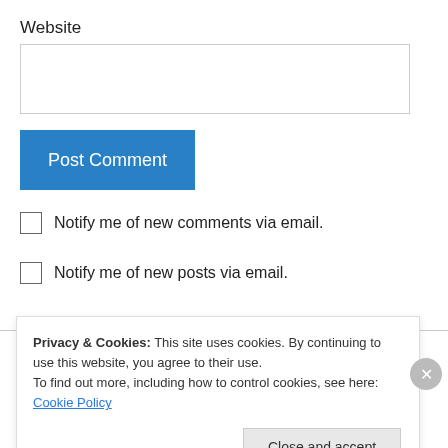Website
[Figure (screenshot): Website text input field (empty)]
[Figure (screenshot): Post Comment button (blue)]
Notify me of new comments via email.
Notify me of new posts via email.
Joyce on August 17, 2010 at 2:00 pm
Privacy & Cookies: This site uses cookies. By continuing to use this website, you agree to their use.
To find out more, including how to control cookies, see here: Cookie Policy
Close and accept